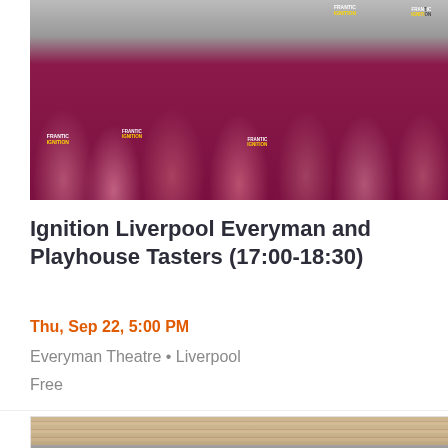[Figure (photo): Group photo of young people in maroon/burgundy 'Frantic Ignition' t-shirts laughing and smiling together in a sports hall or rehearsal space]
Ignition Liverpool Everyman and Playhouse Tasters (17:00-18:30)
Thu, Sep 22, 5:00 PM
Everyman Theatre • Liverpool
Free
[Figure (photo): Group photo of young people in maroon/burgundy 'Frantic Ignition' t-shirts laughing together in a gymnasium or rehearsal space with wooden slat wall in background]